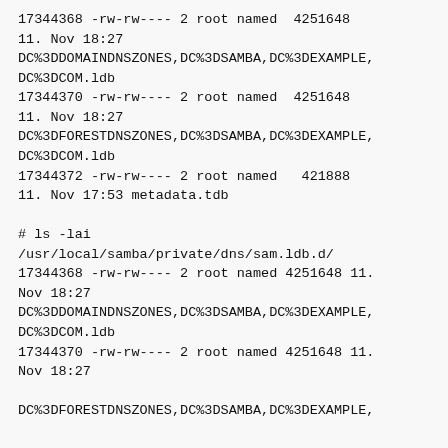17344368 -rw-rw---- 2 root named  4251648 11. Nov 18:27 DC%3DDOMAINDNSZONES,DC%3DSAMBA,DC%3DEXAMPLE,DC%3DCOM.ldb
17344370 -rw-rw---- 2 root named  4251648 11. Nov 18:27 DC%3DFORESTDNSZONES,DC%3DSAMBA,DC%3DEXAMPLE,DC%3DCOM.ldb
17344372 -rw-rw---- 2 root named   421888 11. Nov 17:53 metadata.tdb

# ls -lai /usr/local/samba/private/dns/sam.ldb.d/
17344368 -rw-rw---- 2 root named 4251648 11. Nov 18:27 DC%3DDOMAINDNSZONES,DC%3DSAMBA,DC%3DEXAMPLE,DC%3DCOM.ldb
17344370 -rw-rw---- 2 root named 4251648 11. Nov 18:27 DC%3DFORESTDNSZONES,DC%3DSAMBA,DC%3DEXAMPLE,